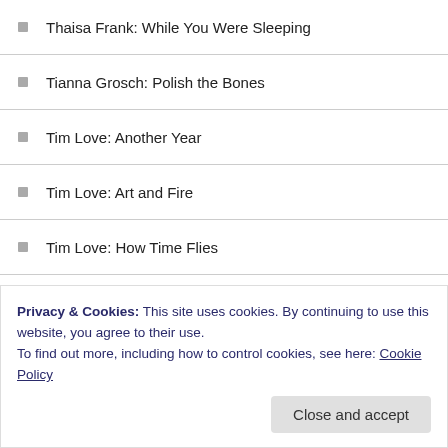Thaisa Frank: While You Were Sleeping
Tianna Grosch: Polish the Bones
Tim Love: Another Year
Tim Love: Art and Fire
Tim Love: How Time Flies
Tim Love: The Park
Tim Love: The Promise of Science
Tim Love: The Right Time and Place
Tim Love: What She Missed
Timothy Boudreau: I Love Our Voices When We Sing Off-Key
Tobias Baudry: A Hard Goodbye
Privacy & Cookies: This site uses cookies. By continuing to use this website, you agree to their use. To find out more, including how to control cookies, see here: Cookie Policy
Close and accept